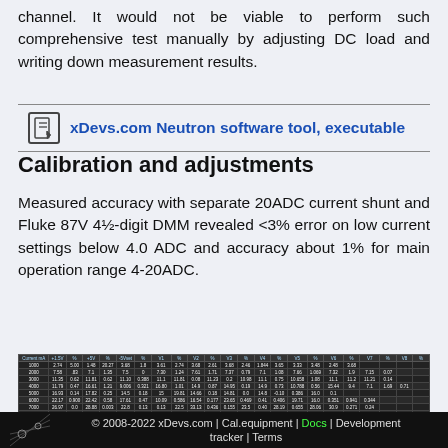channel. It would not be viable to perform such comprehensive test manually by adjusting DC load and writing down measurement results.
xDevs.com Neutron software tool, executable
Calibration and adjustments
Measured accuracy with separate 20ADC current shunt and Fluke 87V 4½-digit DMM revealed <3% error on low current settings below 4.0 ADC and accuracy about 1% for main operation range 4-20ADC.
| Current mA | +1.5V | % | +5V | % | -5Vset | % | V1 | % | V2 | % | V3 | % | V4 | % | V5 | % | V6 | % | V7 | % | V8 | % |
| --- | --- | --- | --- | --- | --- | --- | --- | --- | --- | --- | --- | --- | --- | --- | --- | --- | --- | --- | --- | --- | --- | --- |
| 1000 | 2.74 | 5.00 | 1.48 | 20.27 | 3.68 | 1.8 | 3.61 | 2.74 | 3.68 | 2.61 | 3.68 | 2.46 | 1.844 | 3.65 | 3.33 | 3.48 | 2.48 | 3.68 |
| 2000 | 7.58 | .83 | 7.1 | 1.35 | 7.5 | 0 | 7.30 | 1.24 | 7.61 | 1.71 | 7.37 | 0.79 | 7.1 | 1.08 | 7.66 | 1.069 | 7.32 | 1.9 | 7.15 | 0.07 |
| 3000 | 11.35 | 0.62 | 11.81 | 0.62 | 11.1028 | 0.388 | 11.1 | 11.81 | 0.08 | 11.23 | 0.2 | 10.98 | 11.1 | 0.75 | 10.658 | 1.08 | 11.1 | 11.2 | 11.21 | 0.14 |
| 4000 | 11.79 | 0.47 | 16.61 | 1.21 | 9.006 | 0.321 | 16.80 | 1.01 | 14.9 | 0.87 | 14.95 | 0.19 | 14.9 | 0.73 | 10.788 | 0.56 | 15.44 | 9.4 | 7.1 | 1.69 | 0.71 |
| 5000 | 16.93 | 0.14 | 17.82 | 0.25 | 14.5 | 0.18 | 15 | 19.81 | 14.66 | 0.18 | 14.81 | 0.0 | 14.8 | -0.10 | 0.386 | 16.0 | 0.1 |
| 6000 | 22.17 | 0.900 | 22.42 | 0.58 | 17.61 | 0.47 | 10.09 | 0.586 | 16.54 | 0.177 | 23.65 | 0.469 | 0.41 | 0.406 | 19.71 | 16.0 | 0.351 | 0.941 | 0.344 |
| 7000 | 26.97 | 0.0 | 28.88 | 0.003 | 22.8 | 0.13 | 0.13 | 22.5 | 33.13 | 0.436 | 0.155 | 23.5 | 0.40 | 28.19 | 0.655 | 28.06 | 30.9 | 0.271 | 0.24 |
| 8000 | 30.43 | 0.0 | 30.04 | 0.013 | N.T. | N.T. | 30 | 30.17 | 0.565 | 30.13 | 0.430 | 35.1 | 0.481 | 35.19 | 0.635 | 34.06 | 38.1 | 30.1 | 0.332 | 30 |
| 9000 | 35.7 | 0.28 | 37.18 | 0.28 | N.T. | N.T. | 30 | 35.01 | 0.035 | 30.74 | 0.934 | 0.338 | 34.1 | 34.99 | 8.99 | 0.135 | 37.64 | 30.90 | 0.152 |
| 10000 | 42.14 | 0.61 | 41.24 | 0.12 |  |  | 42.221 | 0.59 | 41.6 | 0.209 | 41.45 | 0.41 | 0.889 | 41.79 | 0.634 | 0.44 | 41.44 | 0.490 | 0 |
| 11000 | 44.97 | 0.87 | 44.63 | 0.38 |  | 43.78 | 0.222 | 42.41 | 0.493 | 43.06 | 0.7 | 43.29 | 0.637 | 43.61 | 0.122 | 49.73 | 0.228 | 42.97 | 0.790 | 42.09 | 0.17 |
| 12000 | 44.71 | 0.640 | 0.601 |  |  |  | 43.28 |  |  | 43.31 | 43.29 | 0.32 | 43.91 | 0.42 | 0.97 | 0.5343 | 42.91 | 43.35 | 0.17 |
| 14000 | 50.43 | -0.37 | 57.4 | -0.79 |  | 57.74 | 0.425 | 5.1 | 0.492 | 57.65 | 0.334 | 53.60 | 0.807 | 15.141 | 0.495 | -0.7 | 1.18 | 50.348 | 62.91 | 43.35 | 0.078 |
| 15000 | 50.13 | -0.19 | 53.13 | 0.18 |  | 58.71 | 0.43 | 0.790 | 50.68 | 0.018 | 62.35 | 0.018 | 53.0 | 0.17 | 62.64 | 0.19 | 51.44 | 0.316 | 0.315 | 43.35 | 0.112 |
| 16000 | 55.5 | 0.1 | 55.13 | 0.15 |  |  | 60.2 | 0.1 | 51.6 | 0.11 | 62.0 | 0.0 | 50.9 | 0.1 | 0.0 | 50.2 | 0.010 | 42.5 | 0.18 |
| 17000 | 55.43 | -0.2 | 53.49 | 0.48 |  | 64.41 | 1.005 | 64.35 | 0.850 | 53.56 | 0.294 | 84.01 | 0.488 | 54 | 0.565 | 56.504 | 54.71 | 0.010 | 43.41 | 0.47 |
| 18000 |  |  | 64.07 | 0.23 |  |  |  |  |  |  |  |  |  |  |  |  |  |  |  |  |  |
© 2008-2022 xDevs.com | Cal.equipment | Docs | Development tracker | Terms